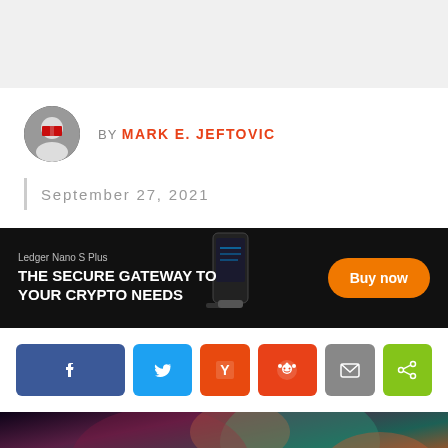[Figure (photo): Gray header background area]
BY MARK E. JEFTOVIC
September 27, 2021
[Figure (infographic): Ledger Nano S Plus advertisement banner with device image. Text: 'Ledger Nano S Plus / THE SECURE GATEWAY TO YOUR CRYPTO NEEDS' with orange 'Buy now' button.]
[Figure (infographic): Social share buttons row: Facebook (blue), Twitter (light blue), Hacker News Y (orange), Reddit alien (red-orange), Email (gray), Share (green)]
[Figure (photo): Colorful mythological or artistic illustration with dark background, featuring figures and vivid colors (teal, red, orange).]